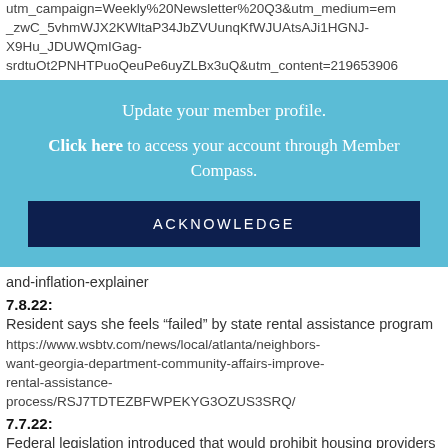utm_campaign=Weekly%20Newsletter%20Q3&utm_medium=em_zwC_5vhmWJX2KWltaP34JbZVUunqKfWJUAtsAJi1HGNJ-X9Hu_JDUWQmIGag-srdtuOt2PNHTPuoQeuPe6uyZLBx3uQ&utm_content=219653906
Update your member profile. Click here to access your account through Member Compass. ACKNOWLEDGE
and-inflation-explainer
7.8.22:
Resident says she feels “failed” by state rental assistance program
https://www.wsbtv.com/news/local/atlanta/neighbors-want-georgia-department-community-affairs-improve-rental-assistance-process/RSJ7TDTEZBFWPEKYG3OZUS3SRQ/
7.7.22:
Federal legislation introduced that would prohibit housing providers from rejecting an applicant because they use...